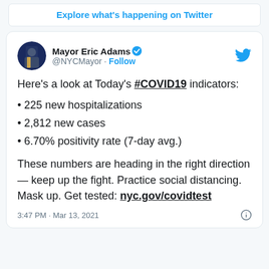Explore what's happening on Twitter
[Figure (screenshot): Twitter profile card for Mayor Eric Adams @NYCMayor with verified badge and Follow button]
Here's a look at Today's #COVID19 indicators:
225 new hospitalizations
2,812 new cases
6.70% positivity rate (7-day avg.)
These numbers are heading in the right direction — keep up the fight. Practice social distancing. Mask up. Get tested: nyc.gov/covidtest
3:47 PM · Mar 13, 2021